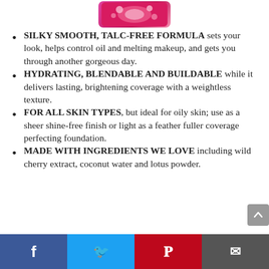[Figure (photo): Product image of a pink floral compact powder]
SILKY SMOOTH, TALC-FREE FORMULA sets your look, helps control oil and melting makeup, and gets you through another gorgeous day.
HYDRATING, BLENDABLE AND BUILDABLE while it delivers lasting, brightening coverage with a weightless texture.
FOR ALL SKIN TYPES, but ideal for oily skin; use as a sheer shine-free finish or light as a feather fuller coverage perfecting foundation.
MADE WITH INGREDIENTS WE LOVE including wild cherry extract, coconut water and lotus powder.
Facebook | Twitter | Pinterest | Email